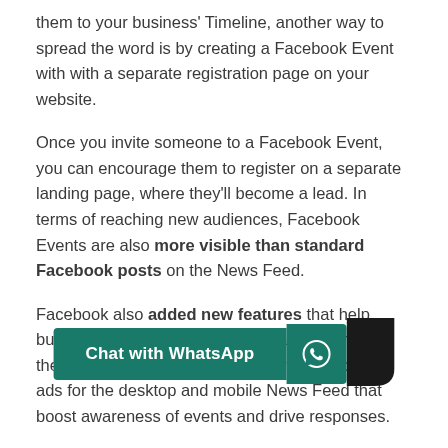them to your business' Timeline, another way to spread the word is by creating a Facebook Event with with a separate registration page on your website.
Once you invite someone to a Facebook Event, you can encourage them to register on a separate landing page, where they'll become a lead. In terms of reaching new audiences, Facebook Events are also more visible than standard Facebook posts on the News Feed.
Facebook also added new features that help businesses promote their events and see how they're performing. For example, you can create ads for the desktop and mobile News Feed that boost awareness of events and drive responses.
If you host events and webin… Events tab on your Page to sh… single view. That way, people visiting your page can scroll